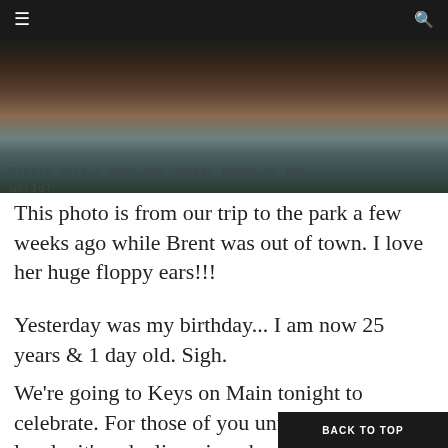≡  🔍
[Figure (photo): Photo of a puppy with floppy ears at a park, viewed from above. Dark background at top with brown and blue tones.]
Pretty sure I have the cutest puppy in the world!
This photo is from our trip to the park a few weeks ago while Brent was out of town. I love her huge floppy ears!!!
Yesterday was my birthday... I am now 25 years & 1 day old. Sigh.
We're going to Keys on Main tonight to celebrate. For those of you unfamiliar with the locale, it's a dueling piano bar that happens to serve s… finger licks. Reservations for 8:30 and I can't wait!!!